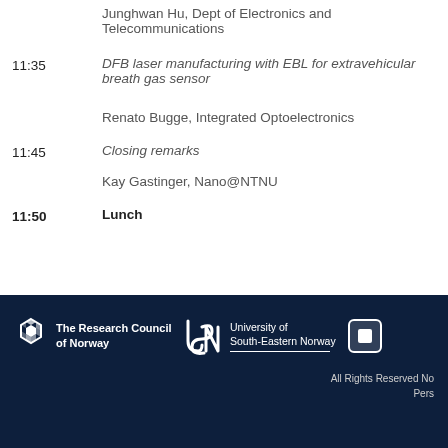Junghwan Hu, Dept of Electronics and Telecommunications
11:35  DFB laser manufacturing with EBL for extravehicular breath gas sensor
Renato Bugge, Integrated Optoelectronics
11:45  Closing remarks
Kay Gastinger, Nano@NTNU
11:50  Lunch
[Figure (logo): The Research Council of Norway logo — white snowflake/diamond icon with text 'The Research Council of Norway' on dark navy background]
[Figure (logo): University of South-Eastern Norway logo — white USN letters with text 'University of South-Eastern Norway' on dark navy background]
[Figure (logo): Square icon logo on dark navy background]
All Rights Reserved No... Pers...